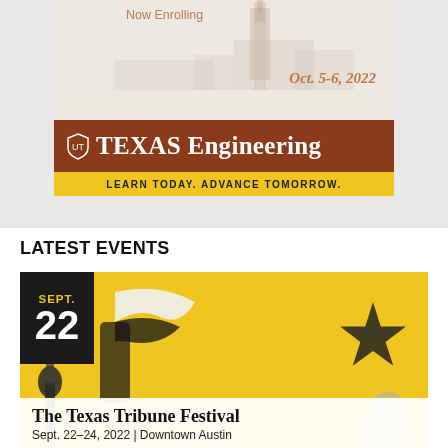Now Enrolling
Oct. 5-6, 2022
[Figure (logo): Texas Engineering banner ad with university tower background, brown bar with shield logo and 'TEXAS Engineering' text, yellow bar with 'LEARN TODAY. ADVANCE TOMORROW.' tagline]
LATEST EVENTS
[Figure (infographic): The Texas Tribune Festival event card with yellow background, black date box showing SEPT. 22, Texas flag and star imagery, white banner with event title and details]
The Texas Tribune Festival Sept. 22–24, 2022 | Downtown Austin